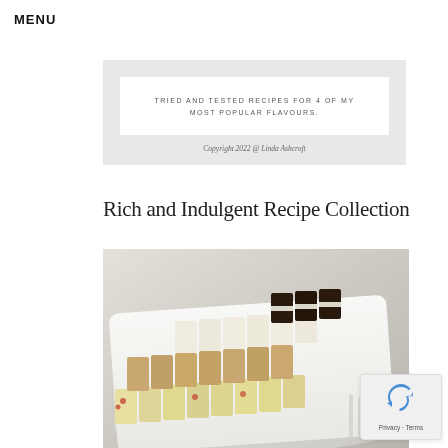MENU
TRIED AND TESTED RECIPES FOR 4 OF MY MOST POPULAR FLAVOURS.
Copyright 2022 @ Linda Ashcroft
Rich and Indulgent Recipe Collection
[Figure (photo): Photograph of assorted cake slices arranged in rows on a white rectangular plate on a light grey background. Slices include varieties with berries, plain sponge, and dark chocolate layers.]
Privacy · Terms